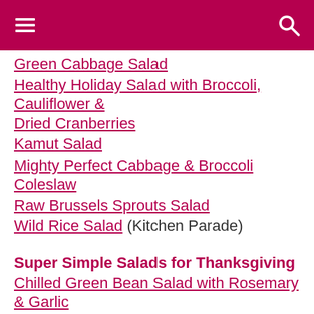Green Cabbage Salad
Healthy Holiday Salad with Broccoli, Cauliflower & Dried Cranberries
Kamut Salad
Mighty Perfect Cabbage & Broccoli Coleslaw
Raw Brussels Sprouts Salad
Wild Rice Salad (Kitchen Parade)
Super Simple Salads for Thanksgiving
Chilled Green Bean Salad with Rosemary & Garlic Oil
Simple Arugula Salad
More Thanksgiving Salads
Cauliflower Salad with Fresh Herbs (Kitchen Parade)
Christmas Cauliflower